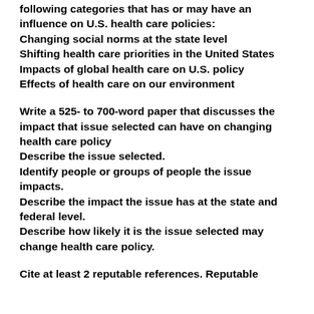research and select an issue from the of the following categories that has or may have an influence on U.S. health care policies:
Changing social norms at the state level
Shifting health care priorities in the United States
Impacts of global health care on U.S. policy
Effects of health care on our environment
Write a 525- to 700-word paper that discusses the impact that issue selected can have on changing health care policy
Describe the issue selected.
Identify people or groups of people the issue impacts.
Describe the impact the issue has at the state and federal level.
Describe how likely it is the issue selected may change health care policy.
Cite at least 2 reputable references. Reputable references include: